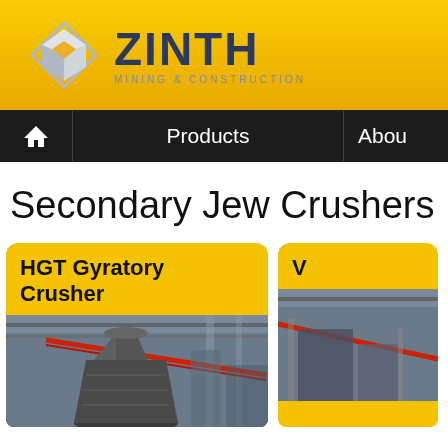[Figure (logo): ZINTH Mining & Construction logo with geometric diamond-shaped metallic icon and company name]
Products
Abou
Secondary Jew Crushers Price
HGT Gyratory Crusher
[Figure (photo): Industrial photo of a large gyratory crusher in a factory/industrial setting with metal structures and red pipes]
[Figure (photo): Partial view of a second industrial product card on the right]